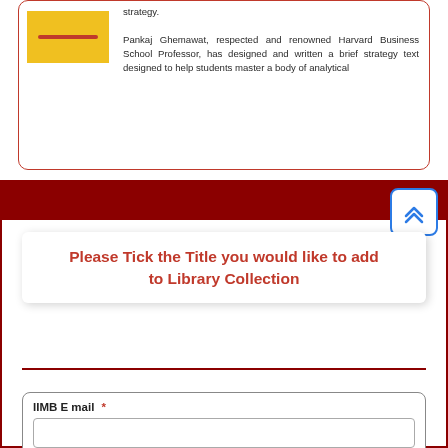[Figure (illustration): Book thumbnail with yellow cover and red stripe]
strategy.

Pankaj Ghemawat, respected and renowned Harvard Business School Professor, has designed and written a brief strategy text designed to help students master a body of analytical
Please Tick the Title you would like to add to Library Collection
IIMB E mail *